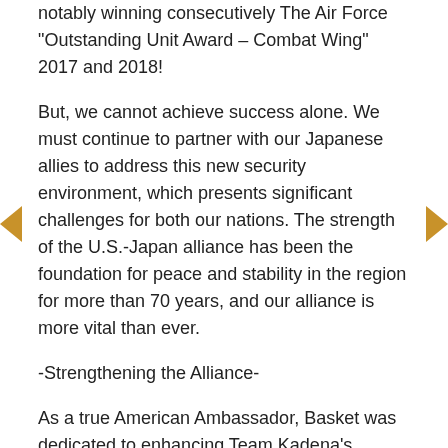notably winning consecutively The Air Force "Outstanding Unit Award – Combat Wing" 2017 and 2018!
But, we cannot achieve success alone. We must continue to partner with our Japanese allies to address this new security environment, which presents significant challenges for both our nations. The strength of the U.S.-Japan alliance has been the foundation for peace and stability in the region for more than 70 years, and our alliance is more vital than ever.
-Strengthening the Alliance-
As a true American Ambassador, Basket was dedicated to enhancing Team Kadena's relationship with our alliance partners at all levels.
The best example of deepening respect and understanding with our community leaders is the overhaul of the community engagement program